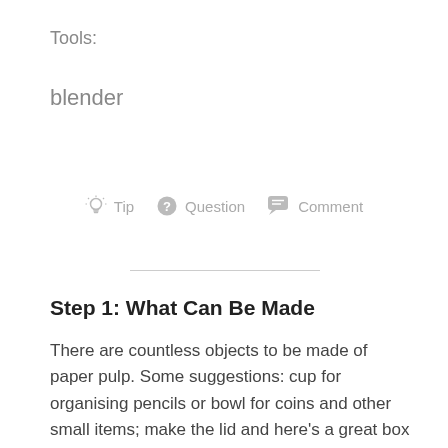Tools:
blender
[Figure (infographic): Row of interactive icons: lightbulb icon with 'Tip', question-mark circle icon with 'Question', speech bubble icon with 'Comment']
Step 1: What Can Be Made
There are countless objects to be made of paper pulp. Some suggestions: cup for organising pencils or bowl for coins and other small items; make the lid and here's a great box for jewellery and other stuff that need to be protected from dust. Balls on rope could be useful for making christmas decorations.